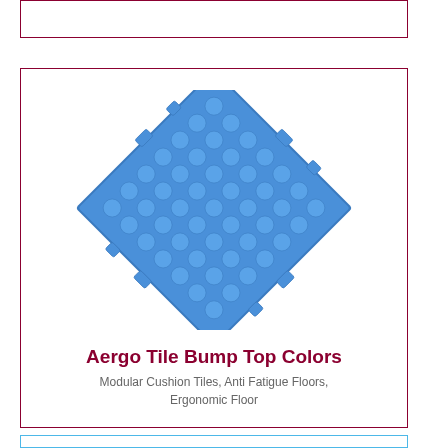[Figure (other): Empty card at top of page with dark red border]
[Figure (photo): Blue modular cushion floor tile (Aergo Bump Top) shown rotated 45 degrees at an angle, with circular bump pattern on top surface and interlocking connectors on edges]
Aergo Tile Bump Top Colors
Modular Cushion Tiles, Anti Fatigue Floors, Ergonomic Floor
[Figure (other): Partial card visible at bottom of page with light blue border]